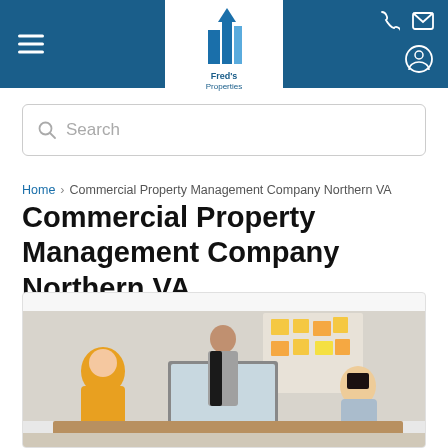Fred's Properties - navigation header with hamburger menu, logo, phone/email icons, and user icon
Search
Home > Commercial Property Management Company Northern VA
Commercial Property Management Company Northern VA
[Figure (photo): Business meeting photo showing people around a desk with a computer monitor; one person in yellow plaid shirt, one standing presenting at a whiteboard with sticky notes, one woman with dark hair listening.]